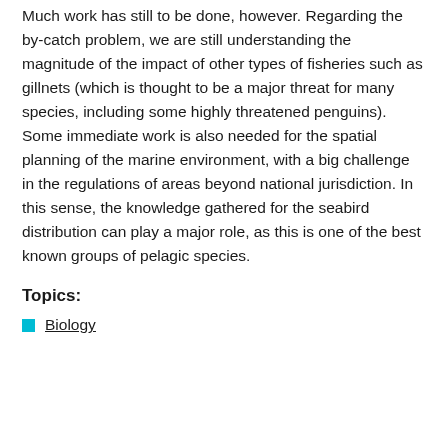Much work has still to be done, however. Regarding the by-catch problem, we are still understanding the magnitude of the impact of other types of fisheries such as gillnets (which is thought to be a major threat for many species, including some highly threatened penguins). Some immediate work is also needed for the spatial planning of the marine environment, with a big challenge in the regulations of areas beyond national jurisdiction. In this sense, the knowledge gathered for the seabird distribution can play a major role, as this is one of the best known groups of pelagic species.
Topics:
Biology